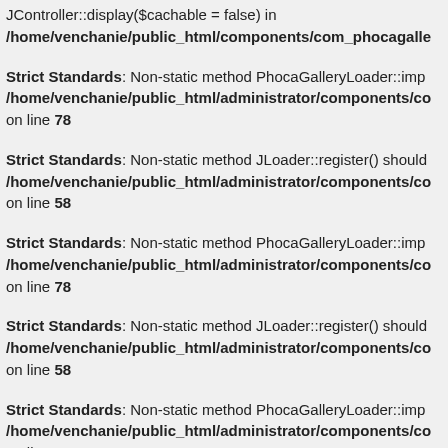JController::display($cachable = false) in /home/venchanie/public_html/components/com_phocagalle
Strict Standards: Non-static method PhocaGalleryLoader::imp /home/venchanie/public_html/administrator/components/co on line 78
Strict Standards: Non-static method JLoader::register() should /home/venchanie/public_html/administrator/components/co on line 58
Strict Standards: Non-static method PhocaGalleryLoader::imp /home/venchanie/public_html/administrator/components/co on line 78
Strict Standards: Non-static method JLoader::register() should /home/venchanie/public_html/administrator/components/co on line 58
Strict Standards: Non-static method PhocaGalleryLoader::imp /home/venchanie/public_html/administrator/components/co